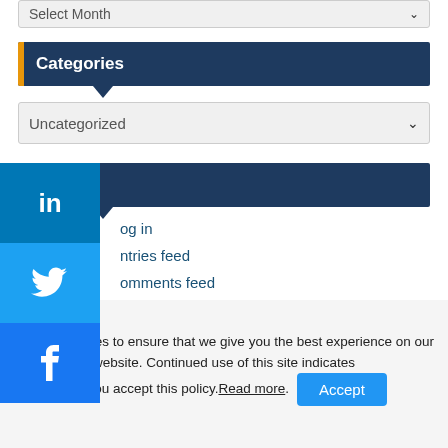Select Month
Categories
Uncategorized
Meta
Log in
Entries feed
Comments feed
WordPress.org
We use cookies to ensure that we give you the best experience on our website. Continued use of this site indicates that you accept this policy. Read more. Accept